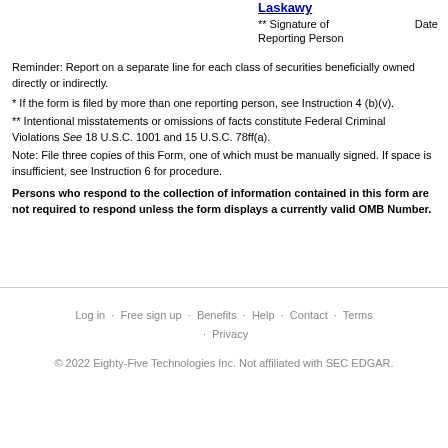Laskawy
** Signature of Reporting Person   Date
Reminder: Report on a separate line for each class of securities beneficially owned directly or indirectly.
* If the form is filed by more than one reporting person, see Instruction 4 (b)(v).
** Intentional misstatements or omissions of facts constitute Federal Criminal Violations See 18 U.S.C. 1001 and 15 U.S.C. 78ff(a).
Note: File three copies of this Form, one of which must be manually signed. If space is insufficient, see Instruction 6 for procedure.
Persons who respond to the collection of information contained in this form are not required to respond unless the form displays a currently valid OMB Number.
Log in · Free sign up · Benefits · Help · Contact · Terms · Privacy
© 2022 Eighty-Five Technologies Inc. Not affiliated with SEC EDGAR.